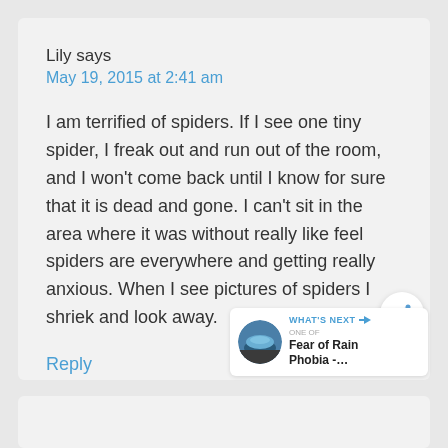Lily says
May 19, 2015 at 2:41 am
I am terrified of spiders. If I see one tiny spider, I freak out and run out of the room, and I won't come back until I know for sure that it is dead and gone. I can't sit in the area where it was without really like feel spiders are everywhere and getting really anxious. When I see pictures of spiders I shriek and look away.
Reply
[Figure (other): Share button icon (circular white button with share arrows icon)]
[Figure (other): What's Next widget showing Fear of Rain Phobia with a landscape image thumbnail]